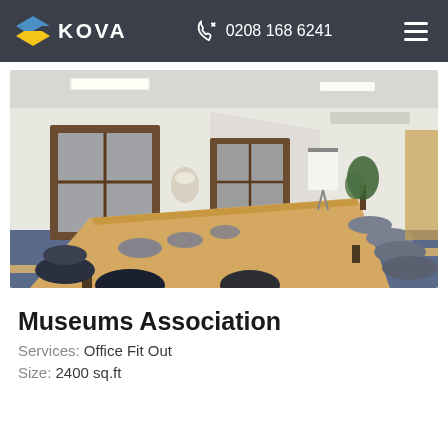KOVA | 0208 168 6241
[Figure (photo): Interior photo of a conference room with a long wooden table, grey office chairs on both sides, two tall windows with wooden frames, fluorescent ceiling lights, a whiteboard/flipchart at the far end, and a potted plant in the corner. Blue carpet flooring.]
Museums Association
Services: Office Fit Out
Size: 2400 sq.ft